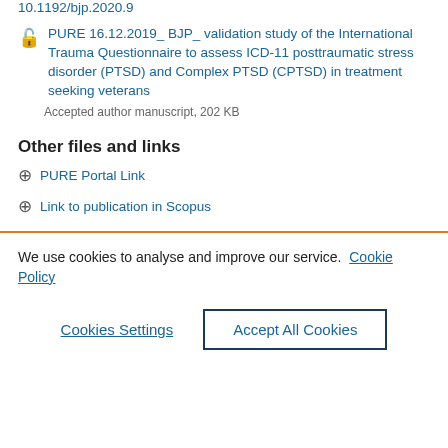10.1192/bjp.2020.9
PURE 16.12.2019_ BJP_ validation study of the International Trauma Questionnaire to assess ICD-11 posttraumatic stress disorder (PTSD) and Complex PTSD (CPTSD) in treatment seeking veterans
Accepted author manuscript, 202 KB
Other files and links
PURE Portal Link
Link to publication in Scopus
We use cookies to analyse and improve our service. Cookie Policy
Cookies Settings
Accept All Cookies